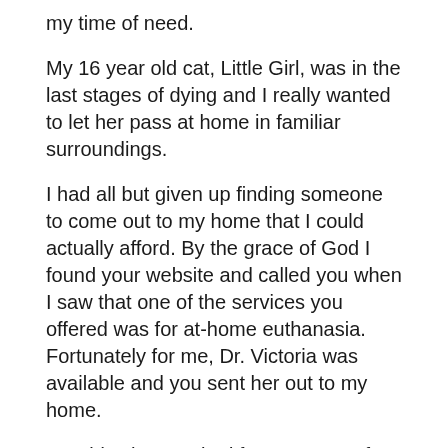my time of need.
My 16 year old cat, Little Girl, was in the last stages of dying and I really wanted to let her pass at home in familiar surroundings.
I had all but given up finding someone to come out to my home that I could actually afford. By the grace of God I found your website and called you when I saw that one of the services you offered was for at-home euthanasia. Fortunately for me, Dr. Victoria was available and you sent her out to my home.
I couldn't have asked for a more perfect person to come and help in my and Little Girl's time of need. Dr. Peterson came to my home and was here within an hour. She was kind, caring and compassionate. She didn't rush the process – even though she had somewhere else to be in a couple of hours, she sat on the floor with me and Little Girl and allowed us the time we needed to go through her final moments, things the She helped us call Little